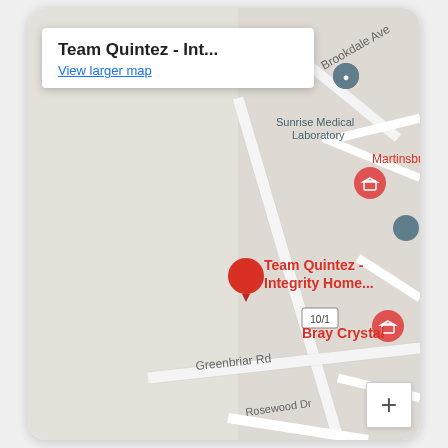[Figure (map): Google Maps screenshot showing Team Quintez - Integrity Home... location pin in red, with surrounding streets including Brookdale Ave, Greenbriar Rd, Rosewood Dr. Nearby landmarks include Sunrise Medical Laboratory (grey pin), Martinsburg (red pin with house icon), Bray Crystal (red pin with house icon). Info box at top left shows 'Team Quintez - Int...' and 'View larger map' link. Zoom + button at bottom right.]